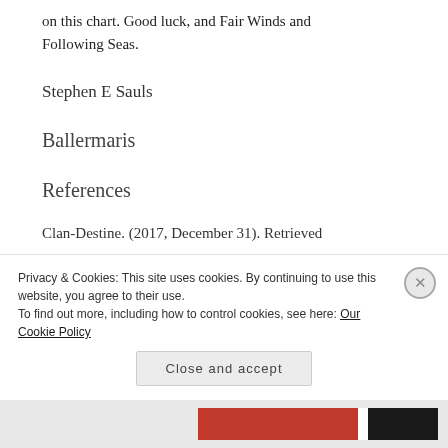on this chart. Good luck, and Fair Winds and Following Seas.
Stephen E Sauls
Ballermaris
References
Clan-Destine. (2017, December 31). Retrieved
Privacy & Cookies: This site uses cookies. By continuing to use this website, you agree to their use.
To find out more, including how to control cookies, see here: Our Cookie Policy
Close and accept